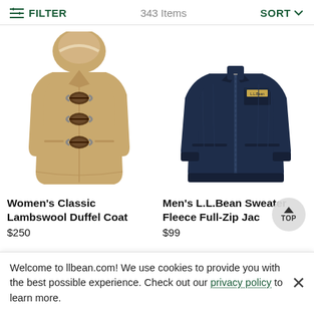FILTER   343 Items   SORT
[Figure (photo): Women's Classic Lambswool Duffel Coat in camel/tan color with toggle buttons and hood]
[Figure (photo): Men's L.L.Bean Sweater Fleece Full-Zip Jacket in navy blue]
Women's Classic Lambswool Duffel Coat
$250
Men's L.L.Bean Sweater Fleece Full-Zip Jacket
$99
Welcome to llbean.com! We use cookies to provide you with the best possible experience. Check out our privacy policy to learn more.